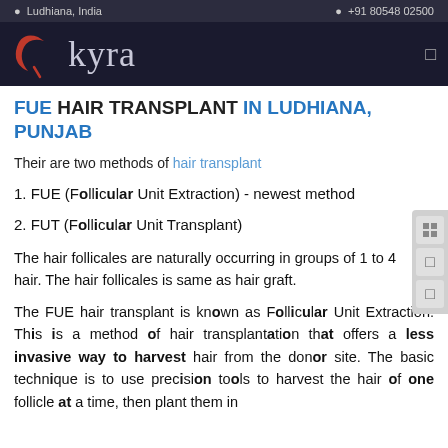Ludhiana, India   +91 80548 02500
[Figure (logo): Kyra clinic logo with red crescent/bird shape and stylized 'kyra' text in light grey on dark navy background]
FUE HAIR TRANSPLANT IN LUDHIANA, PUNJAB
Their are two methods of hair transplant
1. FUE (Follicular Unit Extraction) - newest method
2. FUT (Follicular Unit Transplant)
The hair follicales are naturally occurring in groups of 1 to 4 hair. The hair follicales is same as hair graft.
The FUE hair transplant is known as Follicular Unit Extraction. This is a method of hair transplantation that offers a less invasive way to harvest hair from the donor site. The basic technique is to use precision tools to harvest the hair of one follicle at a time, then plant them in